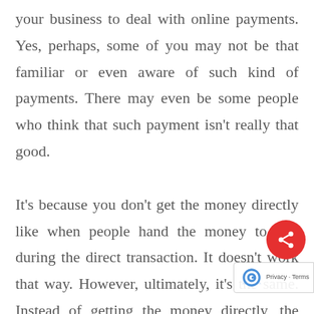your business to deal with online payments. Yes, perhaps, some of you may not be that familiar or even aware of such kind of payments. There may even be some people who think that such payment isn't really that good.

It's because you don't get the money directly like when people hand the money to you during the direct transaction. It doesn't work that way. However, ultimately, it's the same. Instead of getting the money directly, the money will transferred to your account and then you can withdraw it later. The question now is